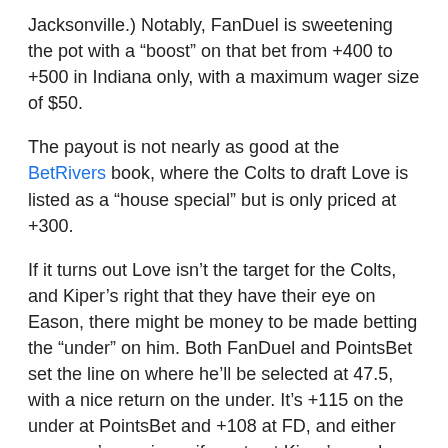Jacksonville.) Notably, FanDuel is sweetening the pot with a “boost” on that bet from +400 to +500 in Indiana only, with a maximum wager size of $50.
The payout is not nearly as good at the BetRivers book, where the Colts to draft Love is listed as a “house special” but is only priced at +300.
If it turns out Love isn’t the target for the Colts, and Kiper’s right that they have their eye on Eason, there might be money to be made betting the “under” on him. Both FanDuel and PointsBet set the line on where he’ll be selected at 47.5, with a nice return on the under. It’s +115 on the under at PointsBet and +108 at FD, and either way, you’re a winner if you trust Kiper’s mock.
And at PointsBet, you have the option on notable players